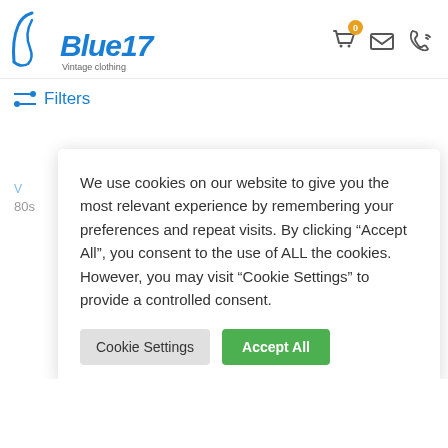[Figure (logo): Blue17 Vintage clothing logo in blue italic font with decorative swash]
[Figure (infographic): Header icons: shopping cart with orange badge showing 0, envelope/mail icon, phone icon]
Filters
We use cookies on our website to give you the most relevant experience by remembering your preferences and repeat visits. By clicking “Accept All”, you consent to the use of ALL the cookies. However, you may visit “Cookie Settings” to provide a controlled consent.
Cookie Settings
Accept All